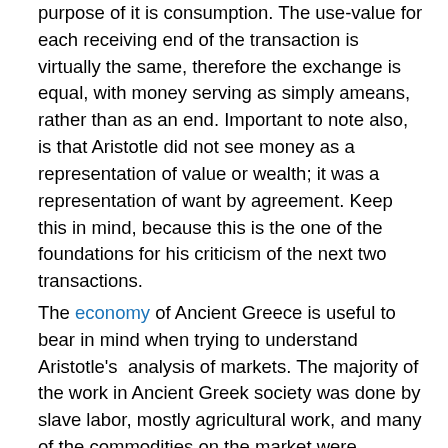purpose of it is consumption. The use-value for each receiving end of the transaction is virtually the same, therefore the exchange is equal, with money serving as simply ameans, rather than as an end. Important to note also, is that Aristotle did not see money as a representation of value or wealth; it was a representation of want by agreement. Keep this in mind, because this is the one of the foundations for his criticism of the next two transactions.
The economy of Ancient Greece is useful to bear in mind when trying to understand Aristotle's  analysis of markets. The majority of the work in Ancient Greek society was done by slave labor, mostly agricultural work, and many of the commodities on the market were products of individual artisans. Therefore, the full value was realized in its exchange of another commodity because the artisan's